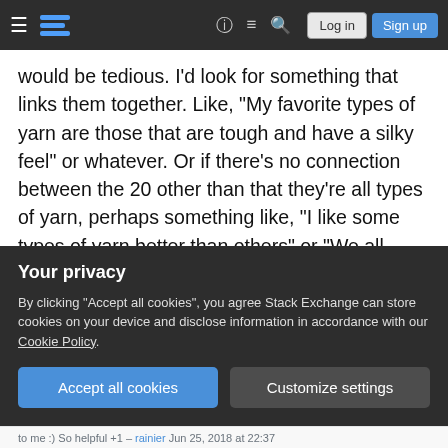Navigation bar with logo, help, chat, search, Log in, Sign up
would be tedious. I'd look for something that links them together. Like, "My favorite types of yarn are those that are tough and have a silky feel" or whatever. Or if there's no connection between the 20 other than that they're all types of yarn, perhaps something like, "I like some types of yarn better than others" or "We all have our favorite types of yarn" or some such.
Share
Improve this answer
answered Jun 25, 2018 at 21:31
Jay
Your privacy
By clicking "Accept all cookies", you agree Stack Exchange can store cookies on your device and disclose information in accordance with our Cookie Policy.
Accept all cookies  Customize settings
to me :) So helpful +1 – rainier  Jun 25, 2018 at 22:37